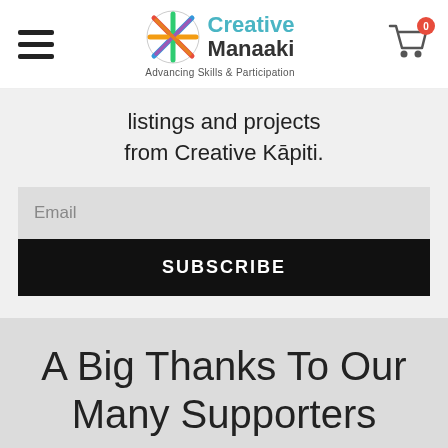Creative Manaaki – Advancing Skills & Participation
listings and projects from Creative Kāpiti.
Email
SUBSCRIBE
A Big Thanks To Our Many Supporters